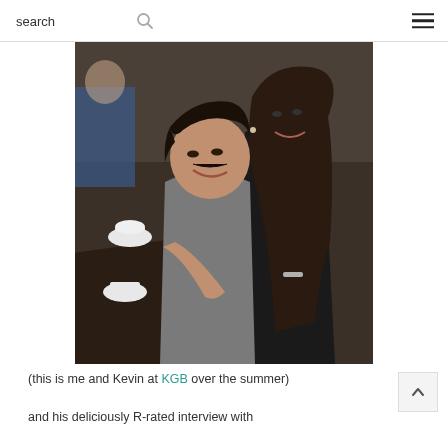search
[Figure (photo): A man and a woman sitting at a restaurant table smiling at the camera. The man has dark hair and is wearing a gray shirt; the woman has long dark hair and is wearing a black sleeveless top. A tea cup and food items are visible on the table.]
(this is me and Kevin at KGB over the summer)
and his deliciously R-rated interview with